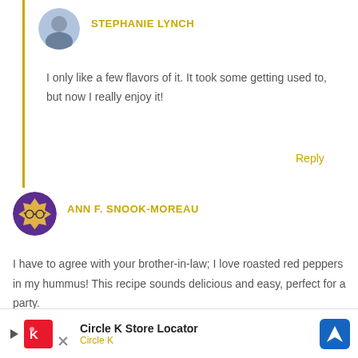[Figure (photo): Circular avatar photo of Stephanie Lynch]
STEPHANIE LYNCH
I only like a few flavors of it. It took some getting used to, but now I really enjoy it!
Reply
[Figure (photo): Circular avatar of Ann F. Snook-Moreau with purple background and glasses emoji-style illustration]
ANN F. SNOOK-MOREAU
I have to agree with your brother-in-law; I love roasted red peppers in my hummus! This recipe sounds delicious and easy, perfect for a party.
Rep
[Figure (other): Circle K Store Locator advertisement banner at the bottom of the page]